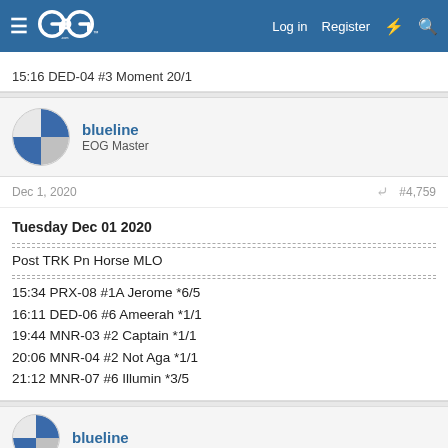EOG forum navigation bar with logo, Log in, Register links
15:16 DED-04 #3 Moment 20/1
blueline
EOG Master
Dec 1, 2020   #4,759
Tuesday Dec 01 2020

---
Post TRK Pn Horse MLO
---
15:34 PRX-08 #1A Jerome *6/5
16:11 DED-06 #6 Ameerah *1/1
19:44 MNR-03 #2 Captain *1/1
20:06 MNR-04 #2 Not Aga *1/1
21:12 MNR-07 #6 Illumin *3/5
blueline